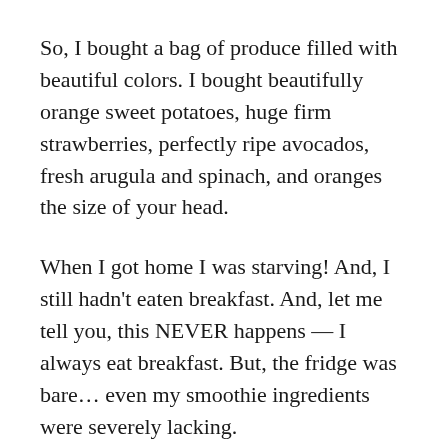So, I bought a bag of produce filled with beautiful colors. I bought beautifully orange sweet potatoes, huge firm strawberries, perfectly ripe avocados, fresh arugula and spinach, and oranges the size of your head.
When I got home I was starving! And, I still hadn't eaten breakfast. And, let me tell you, this NEVER happens — I always eat breakfast. But, the fridge was bare... even my smoothie ingredients were severely lacking.
I heated the oven and put the sweet potatoes in to roast. Then I layed out all of my other ingredients on the counter. The colors were beautiful, but they didn't seem to be conducive